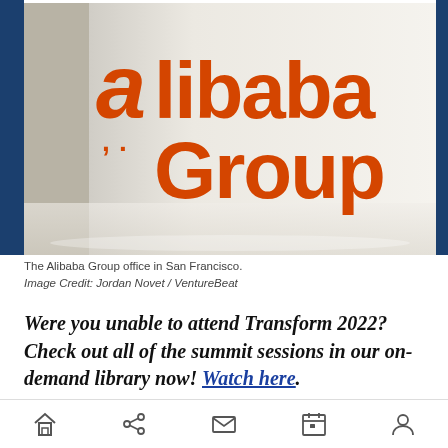[Figure (photo): Alibaba Group office sign in San Francisco showing the orange Alibaba Group logo on a white wall]
The Alibaba Group office in San Francisco.
Image Credit: Jordan Novet / VentureBeat
Were you unable to attend Transform 2022? Check out all of the summit sessions in our on-demand library now! Watch here.
Navigation bar with home, share, mail, calendar, and profile icons